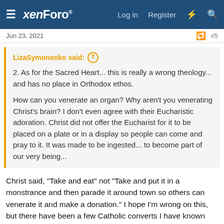xenForo — Log in  Register
Jun 23, 2021  #5
LizaSymonenko said: ↑

2. As for the Sacred Heart... this is really a wrong theology... and has no place in Orthodox ethos.

How can you venerate an organ? Why aren't you venerating Christ's brain? I don't even agree with their Eucharistic adoration. Christ did not offer the Eucharist for it to be placed on a plate or in a display so people can come and pray to it. It was made to be ingested... to become part of our very being...
Christ said, "Take and eat" not "Take and put it in a monstrance and then parade it around town so others can venerate it and make a donation." I hope I'm wrong on this, but there have been a few Catholic converts I have known over the years who have tried to get the priest to have some sort of Eucharistic adoration after the Liturgy concluded. Thankfully, the priest said no in each instance, but they keep trying. I wonder what else of Catholicism they wish to import into the Orthodox church.